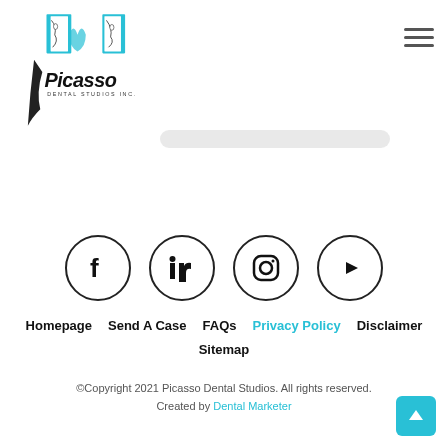[Figure (logo): Picasso Dental Studios Inc. logo with cubist face and tooth illustration in teal/black]
[Figure (illustration): Hamburger menu icon (three horizontal lines) in top right]
[Figure (illustration): Social media icons row: Facebook, LinkedIn, Instagram, YouTube — each in a circle]
Homepage   Send A Case   FAQs   Privacy Policy   Disclaimer
Sitemap
©Copyright 2021 Picasso Dental Studios. All rights reserved.
Created by Dental Marketer